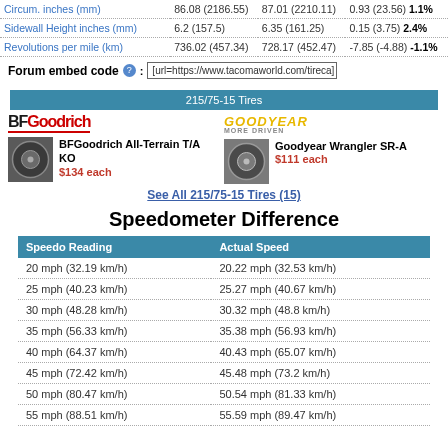|  |  |  |  |
| --- | --- | --- | --- |
| Circum. inches (mm) | 86.08 (2186.55) | 87.01 (2210.11) | 0.93 (23.56) 1.1% |
| Sidewall Height inches (mm) | 6.2 (157.5) | 6.35 (161.25) | 0.15 (3.75) 2.4% |
| Revolutions per mile (km) | 736.02 (457.34) | 728.17 (452.47) | -7.85 (-4.88) -1.1% |
Forum embed code ? : [url=https://www.tacomaworld.com/tireca]
215/75-15 Tires
[Figure (logo): BFGoodrich logo]
[Figure (logo): Goodyear logo]
BFGoodrich All-Terrain T/A KO $134 each
Goodyear Wrangler SR-A $111 each
See All 215/75-15 Tires (15)
Speedometer Difference
| Speedo Reading | Actual Speed |
| --- | --- |
| 20 mph (32.19 km/h) | 20.22 mph (32.53 km/h) |
| 25 mph (40.23 km/h) | 25.27 mph (40.67 km/h) |
| 30 mph (48.28 km/h) | 30.32 mph (48.8 km/h) |
| 35 mph (56.33 km/h) | 35.38 mph (56.93 km/h) |
| 40 mph (64.37 km/h) | 40.43 mph (65.07 km/h) |
| 45 mph (72.42 km/h) | 45.48 mph (73.2 km/h) |
| 50 mph (80.47 km/h) | 50.54 mph (81.33 km/h) |
| 55 mph (88.51 km/h) | 55.59 mph (89.47 km/h) |